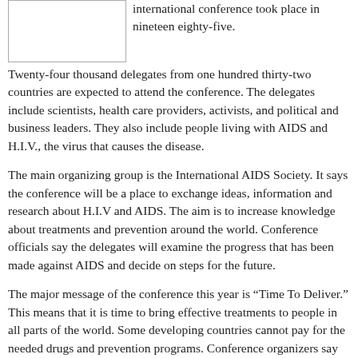[Figure (other): Empty white box placeholder image at top left of page]
international conference took place in nineteen eighty-five.
Twenty-four thousand delegates from one hundred thirty-two countries are expected to attend the conference. The delegates include scientists, health care providers, activists, and political and business leaders. They also include people living with AIDS and H.I.V., the virus that causes the disease.
The main organizing group is the International AIDS Society. It says the conference will be a place to exchange ideas, information and research about H.I.V and AIDS. The aim is to increase knowledge about treatments and prevention around the world. Conference officials say the delegates will examine the progress that has been made against AIDS and decide on steps for the future.
The major message of the conference this year is “Time To Deliver.” This means that it is time to bring effective treatments to people in all parts of the world. Some developing countries cannot pay for the needed drugs and prevention programs. Conference organizers say they want to make it possible for everyone around the world to know about the disease and be able to prevent and treat it.